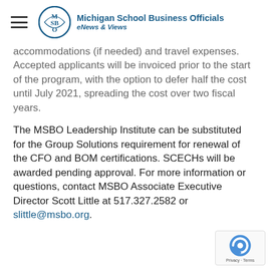Michigan School Business Officials eNews & Views
accommodations (if needed) and travel expenses. Accepted applicants will be invoiced prior to the start of the program, with the option to defer half the cost until July 2021, spreading the cost over two fiscal years.
The MSBO Leadership Institute can be substituted for the Group Solutions requirement for renewal of the CFO and BOM certifications. SCECHs will be awarded pending approval. For more information or questions, contact MSBO Associate Executive Director Scott Little at 517.327.2582 or slittle@msbo.org.